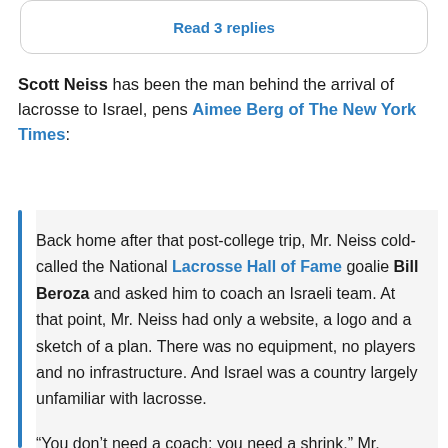Read 3 replies
Scott Neiss has been the man behind the arrival of lacrosse to Israel, pens Aimee Berg of The New York Times:
Back home after that post-college trip, Mr. Neiss cold-called the National Lacrosse Hall of Fame goalie Bill Beroza and asked him to coach an Israeli team. At that point, Mr. Neiss had only a website, a logo and a sketch of a plan. There was no equipment, no players and no infrastructure. And Israel was a country largely unfamiliar with lacrosse.

“You don’t need a coach; you need a shrink,” Mr. Beroza recalled telling Mr. Neiss.